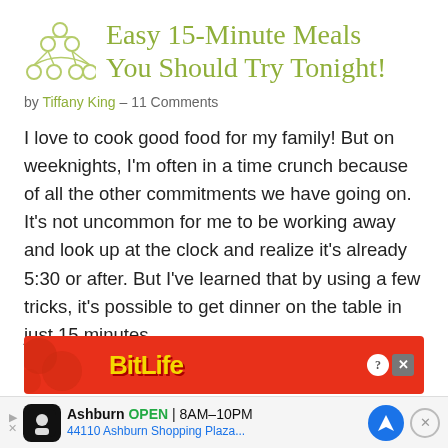Easy 15-Minute Meals You Should Try Tonight!
by Tiffany King – 11 Comments
I love to cook good food for my family! But on weeknights, I'm often in a time crunch because of all the other commitments we have going on. It's not uncommon for me to be working away and look up at the clock and realize it's already 5:30 or after. But I've learned that by using a few tricks, it's possible to get dinner on the table in just 15 minutes.
[Figure (screenshot): BitLife advertisement banner in red with yellow logo text and close/info icons]
[Figure (screenshot): Bottom Google Maps style ad showing 'Ashburn OPEN 8AM-10PM, 44110 Ashburn Shopping Plaza...' with navigation icon and close button]